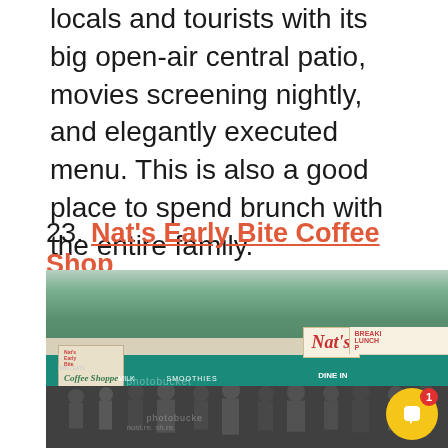locals and tourists with its big open-air central patio, movies screening nightly, and elegantly executed menu. This is also a good place to spend brunch with the entire family.
23. Nat's Early Bite Coffee Shop
[Figure (photo): Exterior photo of Nat's Early Bite Coffee Shoppe showing a green roof building with teal awning, 'Nat's' sign in red script, 'BREAKFAST LUNCH' sign on right, 'Early Bite Coffee Shoppe' sign on left, and crowd of people standing outside. A Photobucket watermark is visible. A yellow chat bubble notification icon with red badge showing '1' is in the bottom right corner.]